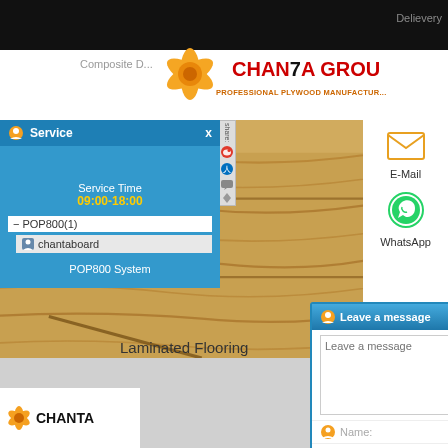Delievery
Composite D...
[Figure (logo): Chanta Group logo with orange star flower icon and red CHANTA GROUP text, PROFESSIONAL PLYWOOD MANUFACTUR... subtitle]
[Figure (screenshot): Service chat panel showing Service Time 09:00-18:00, POP800(1), chantaboard user, POP800 System]
[Figure (photo): Laminated wood flooring photo showing light oak wood planks]
[Figure (screenshot): Leave a message popup form with text area, Name, Tel, Email fields and Submit button]
[Figure (screenshot): E-Mail and WhatsApp contact icons on right side panel]
Laminated Flooring
[Figure (logo): Chanta logo at bottom left with orange star icon]